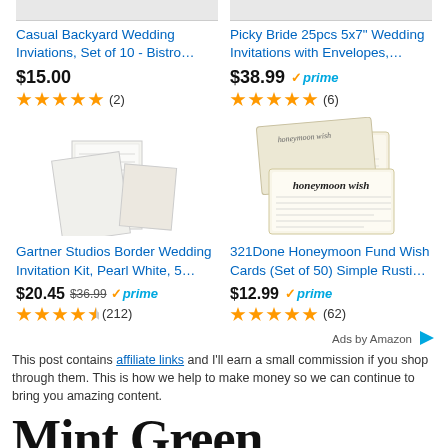Casual Backyard Wedding Inviations, Set of 10 - Bistro...
Picky Bride 25pcs 5x7" Wedding Invitations with Envelopes,...
$15.00
$38.99 prime
(2)
(6)
[Figure (photo): Wedding invitation card product image - Gartner Studios Border Wedding Invitation Kit, Pearl White]
[Figure (photo): Honeymoon wish cards product image - 321Done Honeymoon Fund Wish Cards]
Gartner Studios Border Wedding Invitation Kit, Pearl White, 5...
321Done Honeymoon Fund Wish Cards (Set of 50) Simple Rusti...
$20.45 $36.99 prime
$12.99 prime
(212)
(62)
Ads by Amazon
This post contains affiliate links and I'll earn a small commission if you shop through them. This is how we help to make money so we can continue to bring you amazing content.
Mint Green Damask